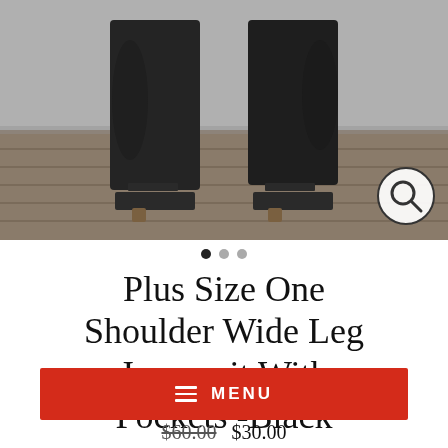[Figure (photo): Product photo showing lower half of model wearing black wide leg jumpsuit with platform sandals, on wood floor background. Magnify icon in lower right corner.]
Plus Size One Shoulder Wide Leg Jumpsuit With Pockets -Black
≡  MENU
$60.00  $30.00